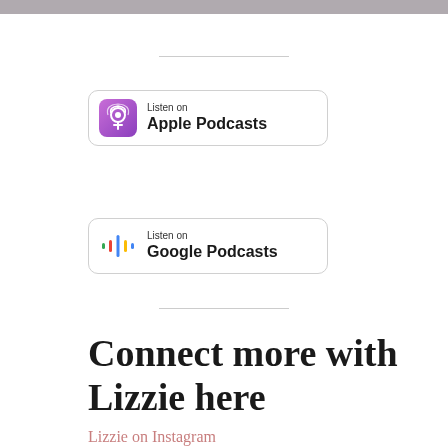[Figure (other): Gray top bar image strip]
[Figure (logo): Listen on Apple Podcasts badge with purple podcast icon]
[Figure (logo): Listen on Google Podcasts badge with colorful bar icon]
Connect more with Lizzie here
Lizzie on Instagram